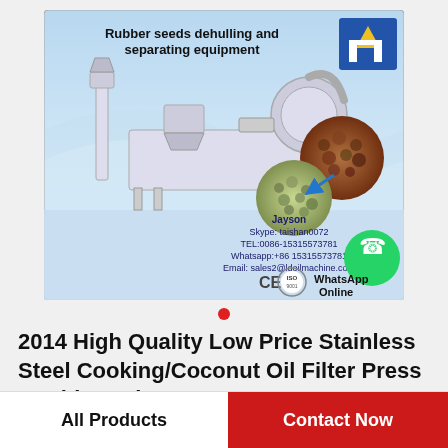[Figure (photo): Product listing image for rubber seeds dehulling and separating equipment. Shows industrial machinery (white/grey) with conveyor systems, along with images of rubber seeds (brown whole and green dehulled). Contact info: Jayson, Skype: taishan0072, TEL: 0086-15315573781, Whatsapp: +86 15315573781, Email: sales2@ldoilmachine.com. CE and ISO 9001 logos. WhatsApp Online button with green phone icon. Company logo top right (blue square with yellow triangle).]
2014 High Quality Low Price Stainless Steel Cooking/Coconut Oil Filter Press Machine Pri…
All Products
Contact Now